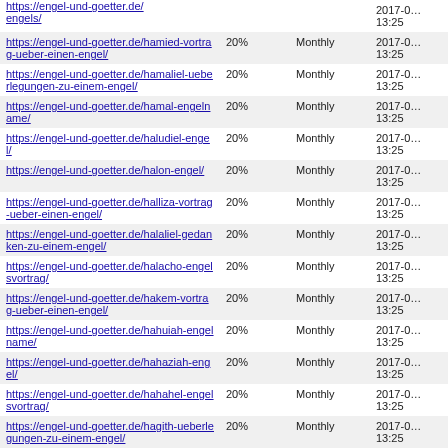| URL | Priority | Change Frequency | Last Modified |
| --- | --- | --- | --- |
| https://engel-und-goetter.de/engels/ |  |  | 2017-0… 13:25 |
| https://engel-und-goetter.de/hamied-vortrag-ueber-einen-engel/ | 20% | Monthly | 2017-0… 13:25 |
| https://engel-und-goetter.de/hamaliel-ueberlegungen-zu-einem-engel/ | 20% | Monthly | 2017-0… 13:25 |
| https://engel-und-goetter.de/hamal-engelname/ | 20% | Monthly | 2017-0… 13:25 |
| https://engel-und-goetter.de/haludiel-engel/ | 20% | Monthly | 2017-0… 13:25 |
| https://engel-und-goetter.de/halon-engel/ | 20% | Monthly | 2017-0… 13:25 |
| https://engel-und-goetter.de/halliza-vortrag-ueber-einen-engel/ | 20% | Monthly | 2017-0… 13:25 |
| https://engel-und-goetter.de/halaliel-gedanken-zu-einem-engel/ | 20% | Monthly | 2017-0… 13:25 |
| https://engel-und-goetter.de/halacho-engelsvortrag/ | 20% | Monthly | 2017-0… 13:25 |
| https://engel-und-goetter.de/hakem-vortrag-ueber-einen-engel/ | 20% | Monthly | 2017-0… 13:25 |
| https://engel-und-goetter.de/hahuiah-engelname/ | 20% | Monthly | 2017-0… 13:25 |
| https://engel-und-goetter.de/hahaziah-engel/ | 20% | Monthly | 2017-0… 13:25 |
| https://engel-und-goetter.de/hahahel-engelsvortrag/ | 20% | Monthly | 2017-0… 13:25 |
| https://engel-und-goetter.de/hagith-ueberlegungen-zu-einem-engel/ | 20% | Monthly | 2017-0… 13:25 |
| https://engel-und-goetter.de/hagios-name-eines-engels/ | 20% | Monthly | 2017-0… 13:25 |
| https://engel-und-goetter.de/hagiel-engelname/ | 20% | Monthly | 2017-0… 13:25 |
| https://engel-und-goetter.de/haggo-engel/ | 20% | Monthly | 2017-0… 13:25 |